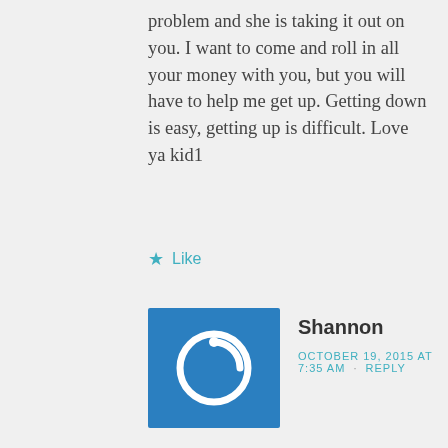problem and she is taking it out on you. I want to come and roll in all your money with you, but you will have to help me get up. Getting down is easy, getting up is difficult. Love ya kid1
Like
Shannon
OCTOBER 19, 2015 AT 7:35 AM · REPLY
Gotta love those internet trolls, right?! Hang in there.
I cannot even fathom what you are facing and I appreciate having your blog here because you give me a chance to see out of another person's eyes. Thank you and keep up the good fight!